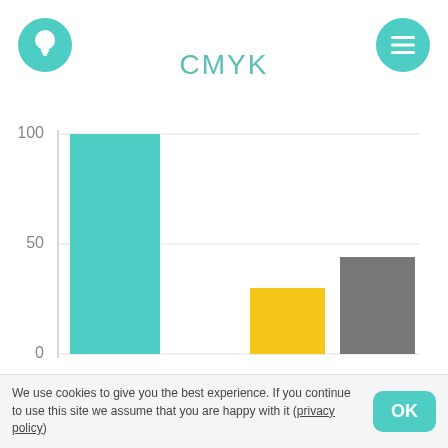CMYK
[Figure (bar-chart): CMYK]
We use cookies to give you the best experience. If you continue to use this site we assume that you are happy with it (privacy policy)